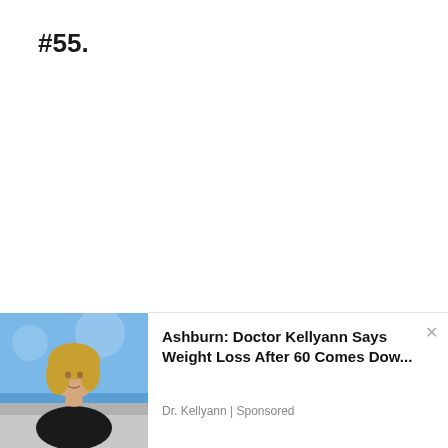#55.
[Figure (photo): Advertisement banner showing a woman with blonde hair seated on a couch in a talk show setting with blue background, promoting a weight loss article.]
Ashburn: Doctor Kellyann Says Weight Loss After 60 Comes Dow...
Dr. Kellyann | Sponsored